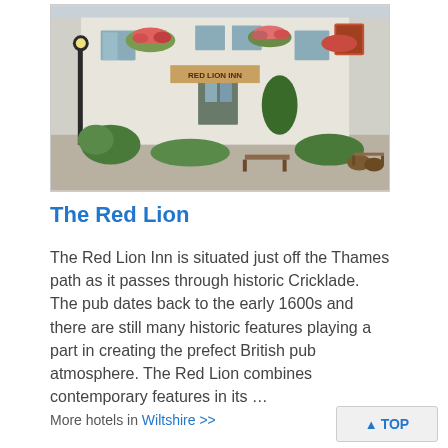[Figure (photo): Exterior photograph of The Red Lion Inn, a white stone building with hanging flower baskets, benches outside, and plants, with a pub sign visible. Street lamp in foreground.]
The Red Lion
The Red Lion Inn is situated just off the Thames path as it passes through historic Cricklade. The pub dates back to the early 1600s and there are still many historic features playing a part in creating the prefect British pub atmosphere. The Red Lion combines contemporary features in its …
More hotels in Wiltshire >>